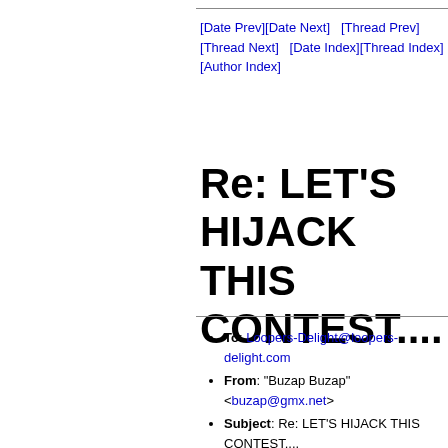[Date Prev][Date Next]   [Thread Prev][Thread Next]   [Date Index][Thread Index][Author Index]
Re: LET'S HIJACK THIS CONTEST....
To: Loopers-Delight@loopers-delight.com
From: "Buzap Buzap" <buzap@gmx.net>
Subject: Re: LET'S HIJACK THIS CONTEST....
Date: Tue, 24 Aug 2010 18:20:46 +0200